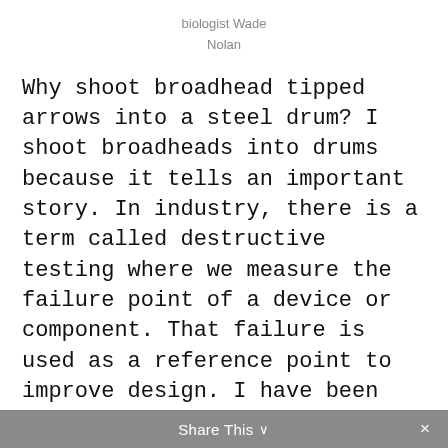biologist Wade
Nolan
Why shoot broadhead tipped arrows into a steel drum? I shoot broadheads into drums because it tells an important story. In industry, there is a term called destructive testing where we measure the failure point of a device or component. That failure is used as a reference point to improve design. I have been conducting failure tests for broadheads since the late 80’s. Back then, like now, there are a lot of broadhead manufacturers that must have been absent on the day destructive testing was discussed in their engineering class. Broadhead failures abound when they encounter steel drums.
Share This ⌄  ×